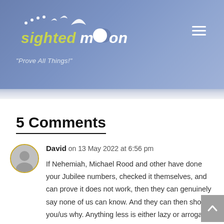sightedmoon — "Prove All Things!"
5 Comments
David on 13 May 2022 at 6:56 pm
If Nehemiah, Michael Rood and other have done your Jubilee numbers, checked it themselves, and can prove it does not work, then they can genuinely say none of us can know. And they can then show you/us why. Anything less is either lazy or arrogance and pride on their part.